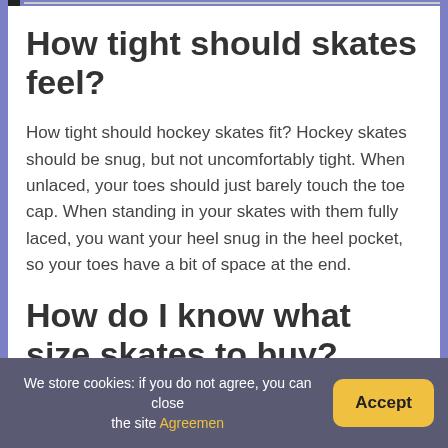How tight should skates feel?
How tight should hockey skates fit? Hockey skates should be snug, but not uncomfortably tight. When unlaced, your toes should just barely touch the toe cap. When standing in your skates with them fully laced, you want your heel snug in the heel pocket, so your toes have a bit of space at the end.
How do I know what size skates to buy?
We store cookies: if you do not agree, you can close the site Agreement